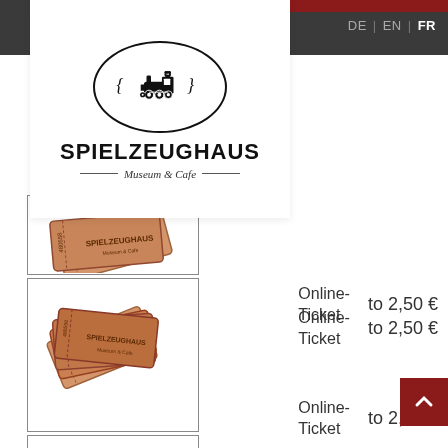[Figure (logo): Spielzeughaus Museum & Cafe logo with toy train in oval, decorative curls, bold text SPIELZEUGHAUS and subtitle Museum & Cafe]
DE  EN  FR
[Figure (photo): Museum admission tickets (tan/orange colored raffle-style tickets) showing SPIELZEUGHAUS logo, partial view]
Online-Ticket    to 2,50 €
[Figure (photo): Fan of four museum admission tickets (tan/orange colored raffle-style tickets) showing SPIELZEUGHAUS logo, numbers 480558, 4805, 48055]
Online-Ticket    to 2,50 €
[Figure (photo): Fan of four museum admission tickets (tan/orange) showing SPIELZEUGHAUS logo, partially visible]
Online-Ticket    to 2,50 €